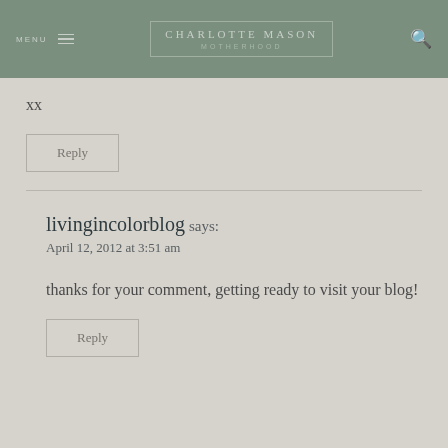MENU | CHARLOTTE MASON MOTHERHOOD
xx
Reply
livingincolorblog says:
April 12, 2012 at 3:51 am
thanks for your comment, getting ready to visit your blog!
Reply